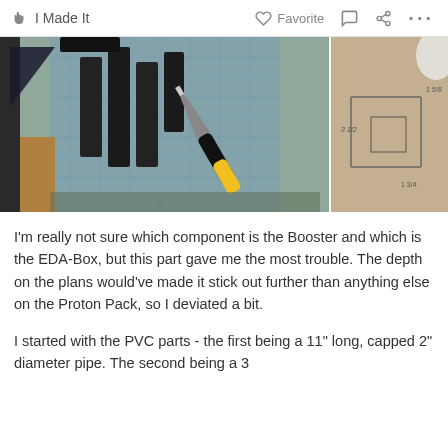I Made It   Favorite   ...
[Figure (photo): Two workshop photos side by side: left photo shows black rectangular foam/plastic pieces standing upright on a cutting mat with a Stanley utility knife; right photo shows a cardboard or brown paper template with pencil markings.]
I'm really not sure which component is the Booster and which is the EDA-Box, but this part gave me the most trouble. The depth on the plans would've made it stick out further than anything else on the Proton Pack, so I deviated a bit.
I started with the PVC parts - the first being a 11" long, capped 2" diameter pipe. The second being a 3